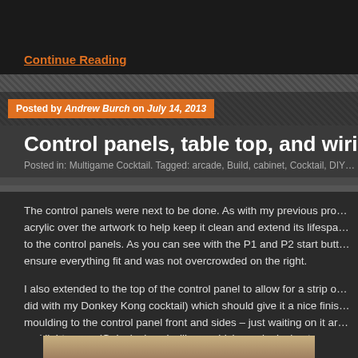Continue Reading
Posted by Andrew Burch on July 14, 2013
Control panels, table top, and wirin…
Posted in: Multigame Cocktail. Tagged: arcade, Build, cabinet, Cocktail, DIY…
The control panels were next to be done. As with my previous pro… acrylic over the artwork to help keep it clean and extend its lifespa… to the control panels. As you can see with the P1 and P2 start butt… ensure everything fit and was not overcrowded on the right.
I also extended to the top of the control panel to allow for a strip o… did with my Donkey Kong cocktail) which should give it a nice finis… moulding to the control panel front and sides – just waiting on it ar… and light green (Galaxian) and will see which one looks best.
[Figure (photo): Bottom partial image of arcade cabinet build project]